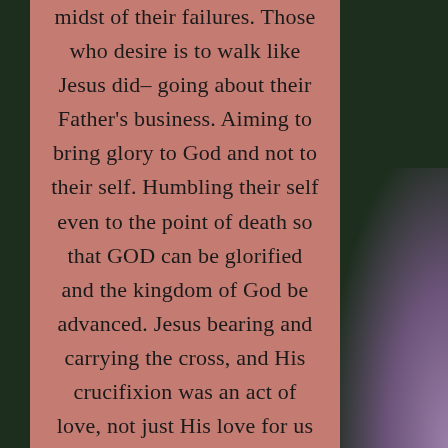midst of their failures. Those who desire is to walk like Jesus did– going about their Father's business. Aiming to bring glory to God and not to their self. Humbling their self even to the point of death so that GOD can be glorified and the kingdom of God be advanced. Jesus bearing and carrying the cross, and His crucifixion was an act of love, not just His love for us but His love for His Father. He did that so that God's will can